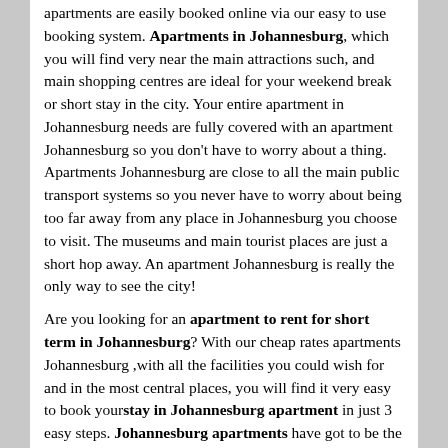apartments are easily booked online via our easy to use booking system. Apartments in Johannesburg, which you will find very near the main attractions such, and main shopping centres are ideal for your weekend break or short stay in the city. Your entire apartment in Johannesburg needs are fully covered with an apartment Johannesburg so you don't have to worry about a thing. Apartments Johannesburg are close to all the main public transport systems so you never have to worry about being too far away from any place in Johannesburg you choose to visit. The museums and main tourist places are just a short hop away. An apartment Johannesburg is really the only way to see the city!
Are you looking for an apartment to rent for short term in Johannesburg? With our cheap rates apartments Johannesburg ,with all the facilities you could wish for and in the most central places, you will find it very easy to book yourstay in Johannesburg apartment in just 3 easy steps. Johannesburg apartments have got to be the best solution.
Are you looking for an apartment in Fourways, Sandton Johannesburg?
We can offer apartments in Johannesburg for short business trips or holidays. Are you looking for comfortable vacation rentals or temporary apartments near the Johannesburg city centre?